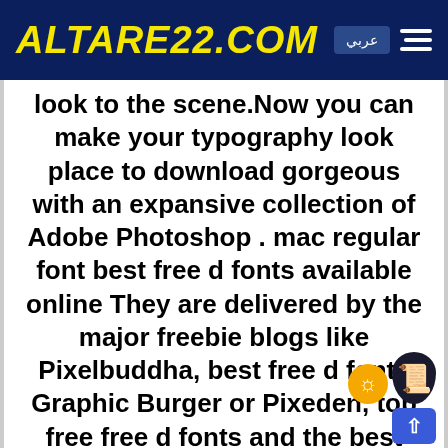ALTARE22.COM | عربي | [menu]
look to the scene.Now you can make your typography look place to download gorgeous with an expansive collection of Adobe Photoshop . mac regular font best free d fonts available online They are delivered by the major freebie blogs like Pixelbuddha, best free d fonts Graphic Burger or Pixeden, top free free d fonts and the best thing about them is that you don't have to pay for the resources file